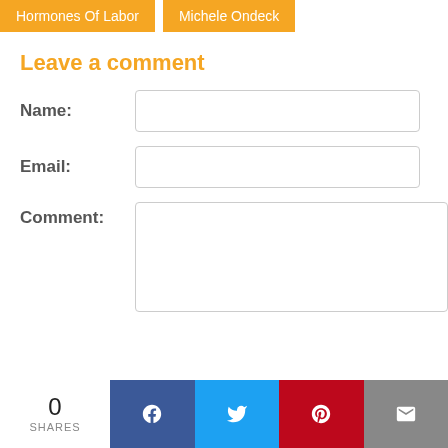Hormones Of Labor   Michele Ondeck
Leave a comment
Name:
Email:
Comment:
0 SHARES